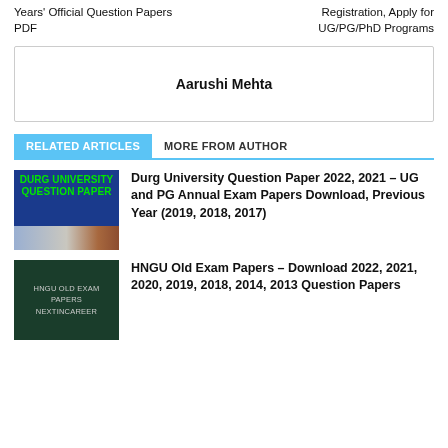Years' Official Question Papers PDF
Registration, Apply for UG/PG/PhD Programs
Aarushi Mehta
RELATED ARTICLES   MORE FROM AUTHOR
Durg University Question Paper 2022, 2021 – UG and PG Annual Exam Papers Download, Previous Year (2019, 2018, 2017)
[Figure (illustration): Blue background card with green bold text reading DURG UNIVERSITY QUESTION PAPER and books image at bottom]
HNGU Old Exam Papers – Download 2022, 2021, 2020, 2019, 2018, 2014, 2013 Question Papers
[Figure (illustration): Dark green background card with light text reading HNGU OLD EXAM PAPERS NEXTINCAREER]